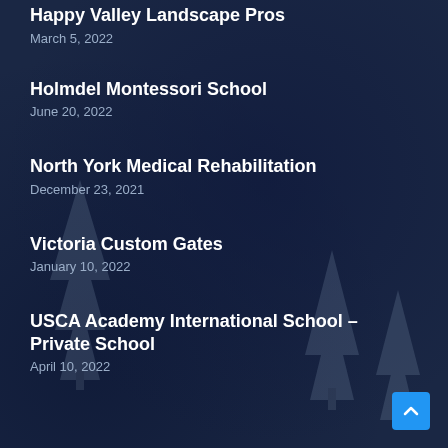Happy Valley Landscape Pros
March 5, 2022
Holmdel Montessori School
June 20, 2022
North York Medical Rehabilitation
December 23, 2021
Victoria Custom Gates
January 10, 2022
USCA Academy International School – Private School
April 10, 2022